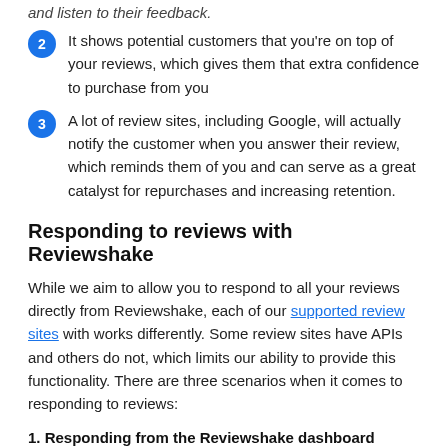2 It shows potential customers that you're on top of your reviews, which gives them that extra confidence to purchase from you
3 A lot of review sites, including Google, will actually notify the customer when you answer their review, which reminds them of you and can serve as a great catalyst for repurchases and increasing retention.
Responding to reviews with Reviewshake
While we aim to allow you to respond to all your reviews directly from Reviewshake, each of our supported review sites with works differently. Some review sites have APIs and others do not, which limits our ability to provide this functionality. There are three scenarios when it comes to responding to reviews:
1. Responding from the Reviewshake dashboard
When we are able to integrate to a review site by API (eg. Facebook, Google, Trustpilot), we allow you to respond to a given review directly from our dashboard.